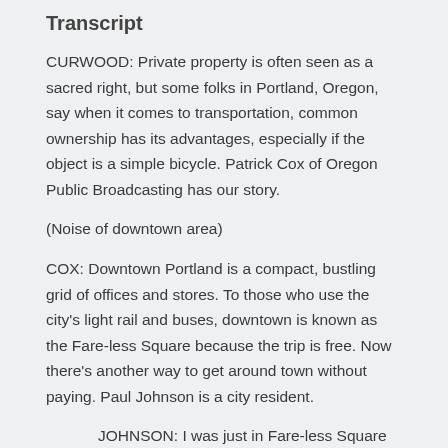Transcript
CURWOOD: Private property is often seen as a sacred right, but some folks in Portland, Oregon, say when it comes to transportation, common ownership has its advantages, especially if the object is a simple bicycle. Patrick Cox of Oregon Public Broadcasting has our story.
(Noise of downtown area)
COX: Downtown Portland is a compact, bustling grid of offices and stores. To those who use the city's light rail and buses, downtown is known as the Fare-less Square because the trip is free. Now there's another way to get around town without paying. Paul Johnson is a city resident.
JOHNSON: I was just in Fare-less Square going up to pick up some forms at the IRS. There was one